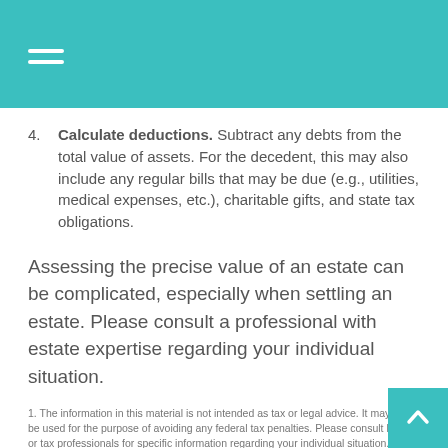4. Calculate deductions. Subtract any debts from the total value of assets. For the decedent, this may also include any regular bills that may be due (e.g., utilities, medical expenses, etc.), charitable gifts, and state tax obligations.
Assessing the precise value of an estate can be complicated, especially when settling an estate. Please consult a professional with estate expertise regarding your individual situation.
1. The information in this material is not intended as tax or legal advice. It may not be used for the purpose of avoiding any federal tax penalties. Please consult legal or tax professionals for specific information regarding your individual situation.
2. The article assumes the deceased has a valid will and has named an executor who is responsible for carrying out the directions of the will. If a person dies intestate, it means that a valid will has not been executed. Without a valid will, a person's property will be distributed to the heirs as defined by the state law.
3. Several factors will affect the cost and availability of life insurance, including age, health, and the type and amount of insurance purchased. Life insurance policies have expenses, including mortality and other charges. If a policy is surrendered